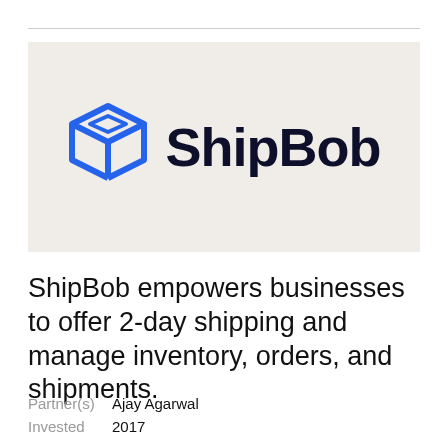[Figure (logo): ShipBob logo: blue 3D box icon on the left, bold dark navy text 'ShipBob' on the right, on a beige/light gray background]
ShipBob empowers businesses to offer 2-day shipping and manage inventory, orders, and shipments.
Partner(s)  Ajay Agarwal
Invested  2017